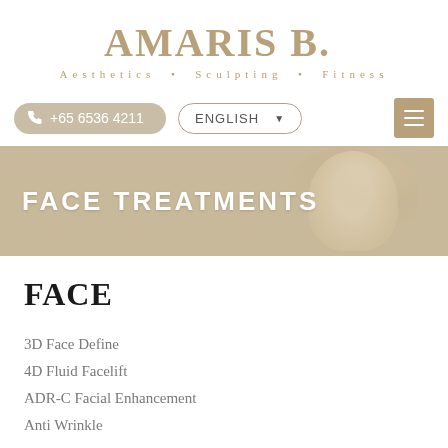[Figure (logo): Amaris B. Clinic logo with tagline: Aesthetics · Sculpting · Fitness]
+65 6536 4211
ENGLISH
[Figure (photo): Hero banner with woman's face partially visible, tan/beige tones]
FACE TREATMENTS
FACE
3D Face Define
4D Fluid Facelift
ADR-C Facial Enhancement
Anti Wrinkle